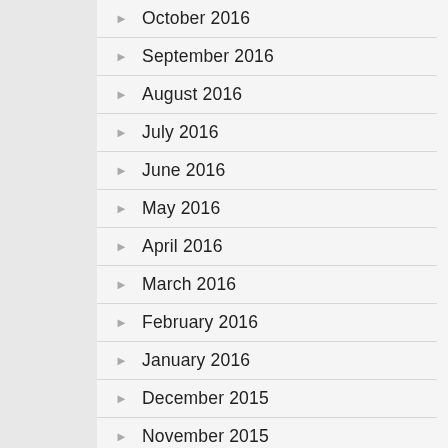October 2016
September 2016
August 2016
July 2016
June 2016
May 2016
April 2016
March 2016
February 2016
January 2016
December 2015
November 2015
October 2015
September 2015